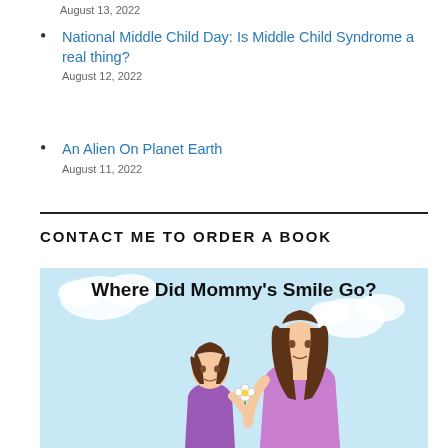August 13, 2022
National Middle Child Day: Is Middle Child Syndrome a real thing?
August 12, 2022
An Alien On Planet Earth
August 11, 2022
CONTACT ME TO ORDER A BOOK
[Figure (illustration): Book cover illustration: 'Where Did Mommy's Smile Go?' showing a cartoon mother with long brown hair in a pink shirt and a small girl with brown pigtails in a purple outfit, holding a flower, set against a light blue sky with white clouds.]